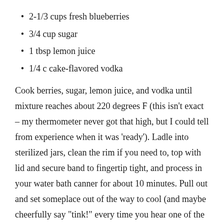2-1/3 cups fresh blueberries
3/4 cup sugar
1 tbsp lemon juice
1/4 c cake-flavored vodka
Cook berries, sugar, lemon juice, and vodka until mixture reaches about 220 degrees F (this isn't exact – my thermometer never got that high, but I could tell from experience when it was 'ready'). Ladle into sterilized jars, clean the rim if you need to, top with lid and secure band to fingertip tight, and process in your water bath canner for about 10 minutes. Pull out and set someplace out of the way to cool (and maybe cheerfully say "tink!" every time you hear one of the lids pop… someone please tell me I'm